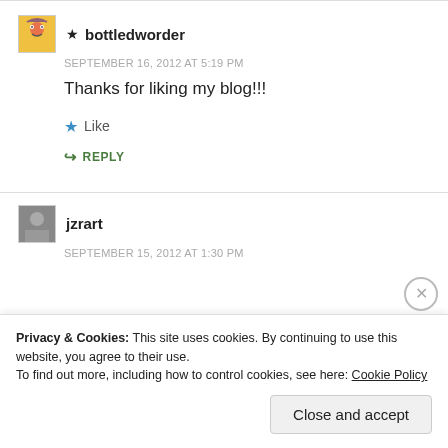★ bottledworder
SEPTEMBER 16, 2012 AT 5:19 PM
Thanks for liking my blog!!!
★ Like
↪ REPLY
jzrart
SEPTEMBER 15, 2012 AT 1:30 PM
Privacy & Cookies: This site uses cookies. By continuing to use this website, you agree to their use.
To find out more, including how to control cookies, see here: Cookie Policy
Close and accept